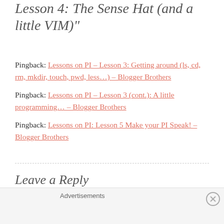Lesson 4: The Sense Hat (and a little VIM)"
Pingback: Lessons on PI – Lesson 3: Getting around (ls, cd, rm, mkdir, touch, pwd, less…) – Blogger Brothers
Pingback: Lessons on PI – Lesson 3 (cont.): A little programming… – Blogger Brothers
Pingback: Lessons on PI: Lesson 5 Make your PI Speak! – Blogger Brothers
Leave a Reply
Your email address will not be published. Required fields
Advertisements